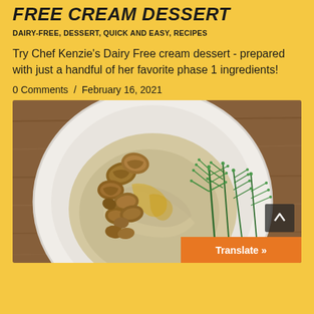FREE CREAM DESSERT
DAIRY-FREE, DESSERT, QUICK AND EASY, RECIPES
Try Chef Kenzie's Dairy Free cream dessert - prepared with just a handful of her favorite phase 1 ingredients!
0 Comments  /  February 16, 2021
[Figure (photo): A white plate on a wooden surface, topped with a creamy spread, walnuts, fresh dill fronds, and a drizzle of olive oil.]